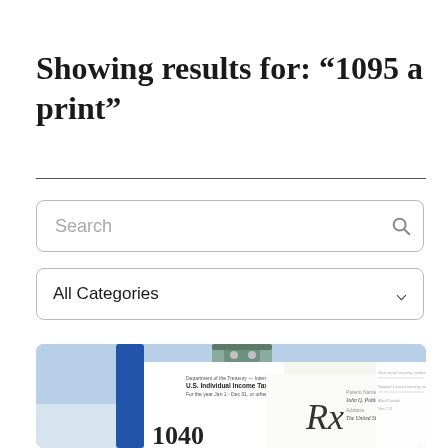Showing results for: “1095 a print”
Search
All Categories
[Figure (photo): Photo of a clipboard with tax forms including a 1040 U.S. Individual Income Tax form and an Rx prescription pad, with handwritten text showing Patient Name: John Q. Public, Address: The United States]